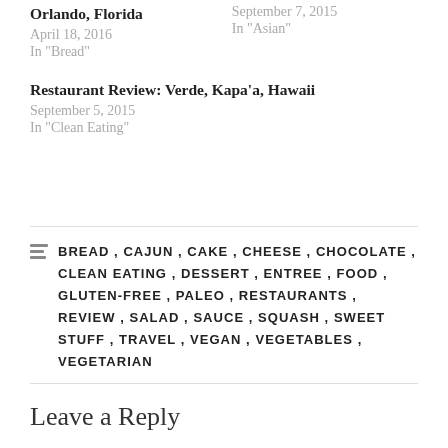Orlando, Florida
April 18, 2016
In "Bread"
September 7, 2015
In "Asian"
Restaurant Review: Verde, Kapa’a, Hawaii
September 5, 2015
In "Clean Eating"
BREAD , CAJUN , CAKE , CHEESE , CHOCOLATE , CLEAN EATING , DESSERT , ENTREE , FOOD , GLUTEN-FREE , PALEO , RESTAURANTS , REVIEW , SALAD , SAUCE , SQUASH , SWEET STUFF , TRAVEL , VEGAN , VEGETABLES , VEGETARIAN
Leave a Reply